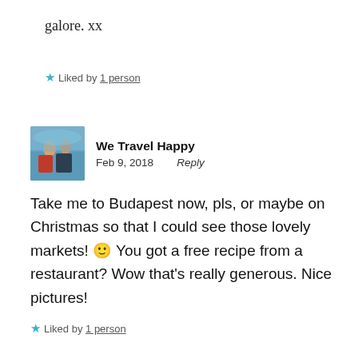galore. xx
★ Liked by 1 person
[Figure (photo): Avatar photo showing two people outdoors near water]
We Travel Happy
Feb 9, 2018   Reply
Take me to Budapest now, pls, or maybe on Christmas so that I could see those lovely markets! 🙂 You got a free recipe from a restaurant? Wow that's really generous. Nice pictures!
★ Liked by 1 person